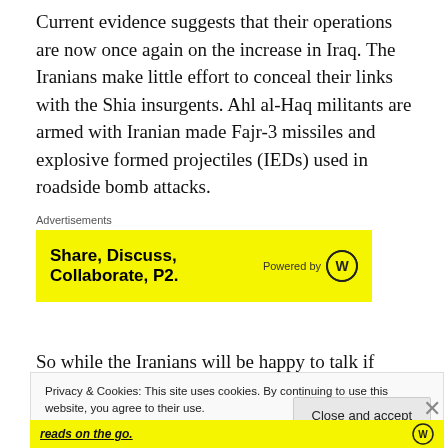Current evidence suggests that their operations are now once again on the increase in Iraq. The Iranians make little effort to conceal their links with the Shia insurgents. Ahl al-Haq militants are armed with Iranian made Fajr-3 missiles and explosive formed projectiles (IEDs) used in roadside bomb attacks.
[Figure (other): Yellow advertisement banner reading 'Share, Discuss, Collaborate, P2.' with 'Powered by' WordPress logo, under an 'Advertisements' label]
So while the Iranians will be happy to talk if invited to, the
Privacy & Cookies: This site uses cookies. By continuing to use this website, you agree to their use.
To find out more, including how to control cookies, see here: Cookie Policy